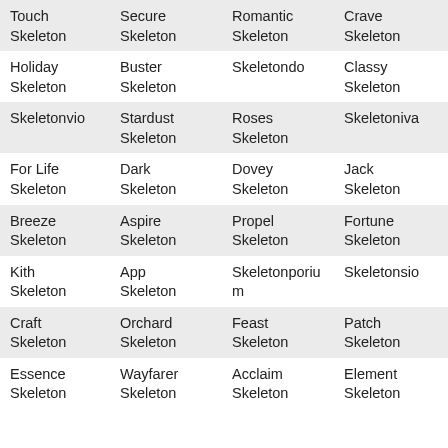| Touch
Skeleton | Secure
Skeleton | Romantic
Skeleton | Crave
Skeleton |
| Holiday
Skeleton | Buster
Skeleton | Skeletondo | Classy
Skeleton |
| Skeletonvio | Stardust
Skeleton | Roses
Skeleton | Skeletoniva |
| For Life
Skeleton | Dark
Skeleton | Dovey
Skeleton | Jack
Skeleton |
| Breeze
Skeleton | Aspire
Skeleton | Propel
Skeleton | Fortune
Skeleton |
| Kith
Skeleton | App
Skeleton | Skeletonporium | Skeletonsio |
| Craft
Skeleton | Orchard
Skeleton | Feast Skeleton | Patch
Skeleton |
| Essence
Skeleton | Wayfarer
Skeleton | Acclaim
Skeleton | Element
Skeleton |